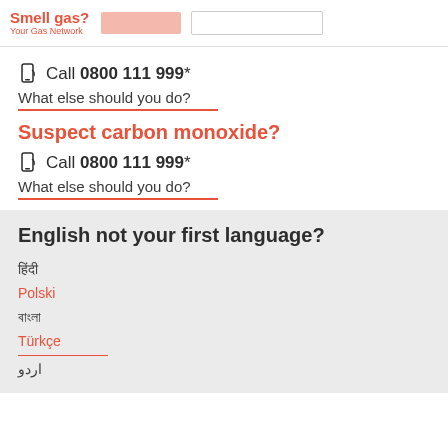Smell gas? Your Gas Network
Call 0800 111 999*
What else should you do?
Suspect carbon monoxide?
Call 0800 111 999*
What else should you do?
English not your first language?
हिंदी
Polski
বাংলা
Türkçe
اردو